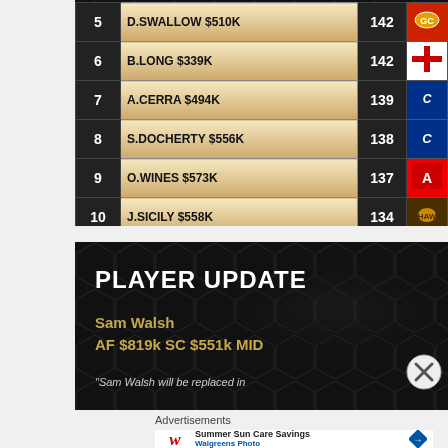| Rank | Player / Price | Score | Team |
| --- | --- | --- | --- |
| 5 | D.SWALLOW $510K | 142 | GC |
| 6 | B.LONG $339K | 142 | StK |
| 7 | A.CERRA $494K | 139 | Carl |
| 8 | S.DOCHERTY $556K | 138 | Carl |
| 9 | O.WINES $573K | 137 | Adel |
| 10 | J.SICILY $558K | 134 | Haw |
[Figure (infographic): Player Update card for Sam Walsh: AF $819k SC $551k MID with quote about being replaced]
Advertisements
[Figure (infographic): Walgreens Photo advertisement - Summer Sun Care Savings]